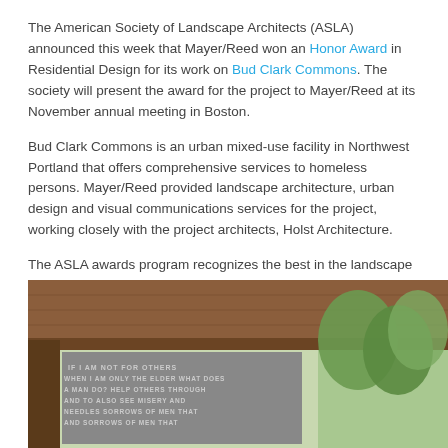The American Society of Landscape Architects (ASLA) announced this week that Mayer/Reed won an Honor Award in Residential Design for its work on Bud Clark Commons. The society will present the award for the project to Mayer/Reed at its November annual meeting in Boston.
Bud Clark Commons is an urban mixed-use facility in Northwest Portland that offers comprehensive services to homeless persons. Mayer/Reed provided landscape architecture, urban design and visual communications services for the project, working closely with the project architects, Holst Architecture.
The ASLA awards program recognizes the best in the landscape architecture of public places, residential designs, campuses, parks and urban planning projects from across the United States and around the world. A jury composed of top practitioners and academicians from throughout North America selected this year's honorees.
[Figure (photo): Exterior architectural photo showing a wooden overhead beam/canopy structure with a metal panel featuring cut-out text (quote about helping others/misery), with trees visible in the background — appears to be Bud Clark Commons.]